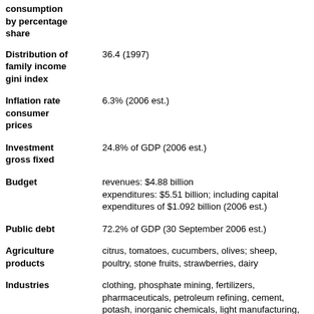consumption by percentage share
Distribution of family income gini index: 36.4 (1997)
Inflation rate consumer prices: 6.3% (2006 est.)
Investment gross fixed: 24.8% of GDP (2006 est.)
Budget: revenues: $4.88 billion; expenditures: $5.51 billion; including capital expenditures of $1.092 billion (2006 est.)
Public debt: 72.2% of GDP (30 September 2006 est.)
Agriculture products: citrus, tomatoes, cucumbers, olives; sheep, poultry, stone fruits, strawberries, dairy
Industries: clothing, phosphate mining, fertilizers, pharmaceuticals, petroleum refining, cement, potash, inorganic chemicals, light manufacturing, tourism